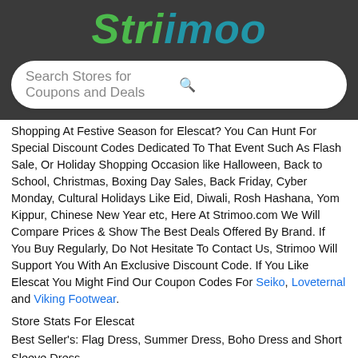Strimoo
Search Stores for Coupons and Deals
Shopping At Festive Season for Elescat? You Can Hunt For Special Discount Codes Dedicated To That Event Such As Flash Sale, Or Holiday Shopping Occasion like Halloween, Back to School, Christmas, Boxing Day Sales, Back Friday, Cyber Monday, Cultural Holidays Like Eid, Diwali, Rosh Hashana, Yom Kippur, Chinese New Year etc, Here At Strimoo.com We Will Compare Prices & Show The Best Deals Offered By Brand. If You Buy Regularly, Do Not Hesitate To Contact Us, Strimoo Will Support You With An Exclusive Discount Code. If You Like Elescat You Might Find Our Coupon Codes For Seiko, Loveternal and Viking Footwear.
Store Stats For Elescat
Best Seller's: Flag Dress, Summer Dress, Boho Dress and Short Sleeve Dress
Average Saving: $5
Total Deals: 12
Easy Return Policy: Yes
Last Updated: August 2022